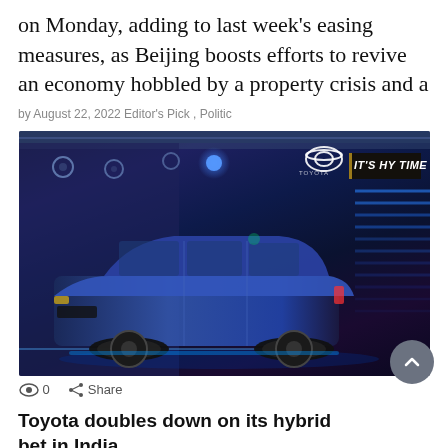on Monday, adding to last week's easing measures, as Beijing boosts efforts to revive an economy hobbled by a property crisis and a
by August 22, 2022 Editor's Pick , Politic
[Figure (photo): A blue Toyota SUV (Hyryder) on a stage with dramatic blue lighting, Toyota logo visible, sign reading IT'S HY TIME in the background]
0   Share
Toyota doubles down on its hybrid bet in India
Toyota Hyryder — TOYOTABIDADI —